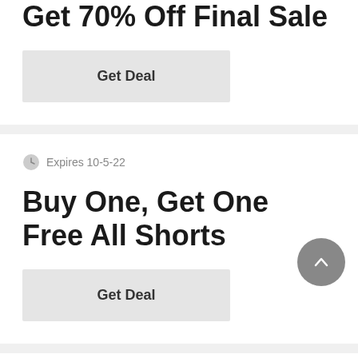Get 70% Off Final Sale
Get Deal
Expires 10-5-22
Buy One, Get One Free All Shorts
Get Deal
Expires 20-8-22
Save 10% Off Site-wide